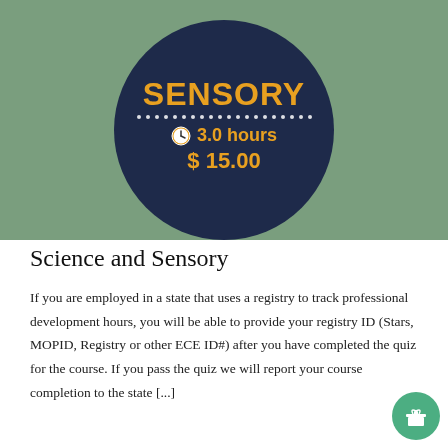[Figure (illustration): Course banner with dark navy circle on sage green background showing 'SENSORY' in orange bold text, dotted white line, clock icon with '3.0 hours' in orange, and '$ 15.00' in orange below.]
Science and Sensory
If you are employed in a state that uses a registry to track professional development hours, you will be able to provide your registry ID (Stars, MOPID, Registry or other ECE ID#) after you have completed the quiz for the course. If you pass the quiz we will report your course completion to the state [...]